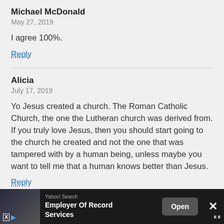Michael McDonald
May 27, 2019
I agree 100%.
Reply
Alicia
July 17, 2019
Yo Jesus created a church. The Roman Catholic Church, the one the Lutheran church was derived from. If you truly love Jesus, then you should start going to the church he created and not the one that was tampered with by a human being, unless maybe you want to tell me that a human knows better than Jesus.
Reply
Tom Sherman
[Figure (screenshot): Advertisement bar at bottom: Yahoo! Search ad for Employer Of Record Services with Open button and close X]